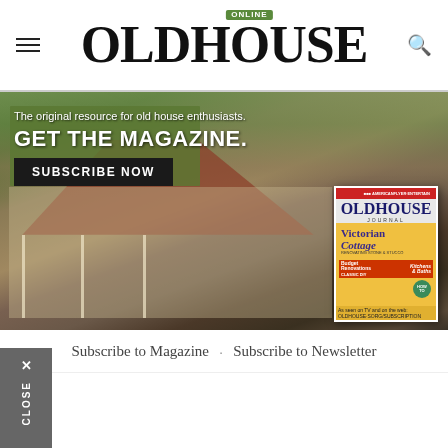OLD HOUSE ONLINE
[Figure (photo): Advertisement banner showing a craftsman-style old house with a front porch and American flag, overlaid with text 'The original resource for old house enthusiasts. GET THE MAGAZINE. SUBSCRIBE NOW' and a magazine cover for Old House Journal featuring Victorian Cottage.]
Subscribe to Magazine · Subscribe to Newsletter